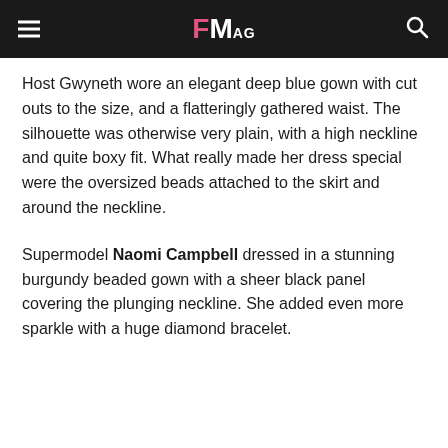FMag
Host Gwyneth wore an elegant deep blue gown with cut outs to the size, and a flatteringly gathered waist. The silhouette was otherwise very plain, with a high neckline and quite boxy fit. What really made her dress special were the oversized beads attached to the skirt and around the neckline.
Supermodel Naomi Campbell dressed in a stunning burgundy beaded gown with a sheer black panel covering the plunging neckline. She added even more sparkle with a huge diamond bracelet.